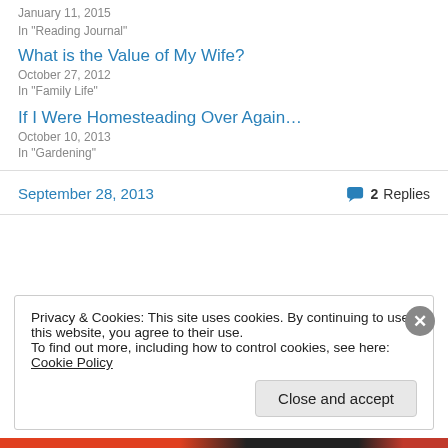January 11, 2015
In "Reading Journal"
What is the Value of My Wife?
October 27, 2012
In "Family Life"
If I Were Homesteading Over Again…
October 10, 2013
In "Gardening"
September 28, 2013
2 Replies
Privacy & Cookies: This site uses cookies. By continuing to use this website, you agree to their use.
To find out more, including how to control cookies, see here: Cookie Policy
Close and accept